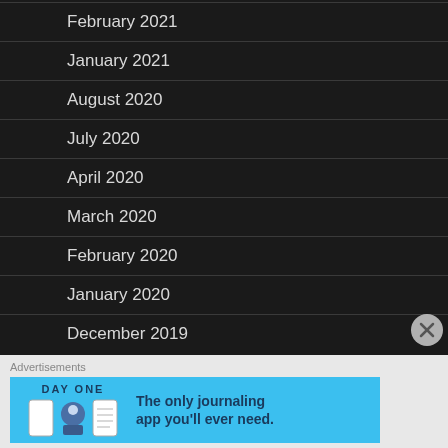February 2021
January 2021
August 2020
July 2020
April 2020
March 2020
February 2020
January 2020
December 2019
[Figure (screenshot): Advertisement banner for Day One journaling app with blue background, app logo icons, and text 'The only journaling app you'll ever need.']
Advertisements